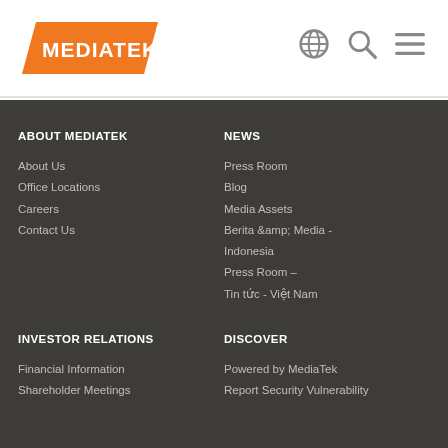[Figure (logo): MediaTek logo — orange parallelogram background with white MEDIATEK text]
ABOUT MEDIATEK
About Us
Office Locations
Careers
Contact Us
NEWS
Press Room
Blog
Media Assets
Berita &amp; Media - Indonesia
Press Room – Tin tức - Việt Nam
INVESTOR RELATIONS
Financial Information
Shareholder Meetings
DISCOVER
Powered by MediaTek
Report Security Vulnerability